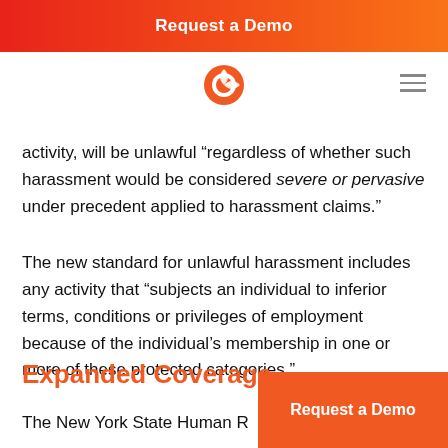Request a Demo
activity, will be unlawful “regardless of whether such harassment would be considered severe or pervasive under precedent applied to harassment claims.”
The new standard for unlawful harassment includes any activity that “subjects an individual to inferior terms, conditions or privileges of employment because of the individual’s membership in one or more of these protected categories.”
Expanded Coverage
The New York State Human Rights Law will expand